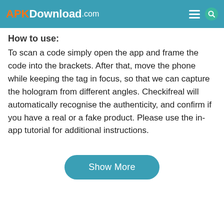APKDownload.com
How to use:
To scan a code simply open the app and frame the code into the brackets. After that, move the phone while keeping the tag in focus, so that we can capture the hologram from different angles. Checkifreal will automatically recognise the authenticity, and confirm if you have a real or a fake product. Please use the in-app tutorial for additional instructions.
Show More